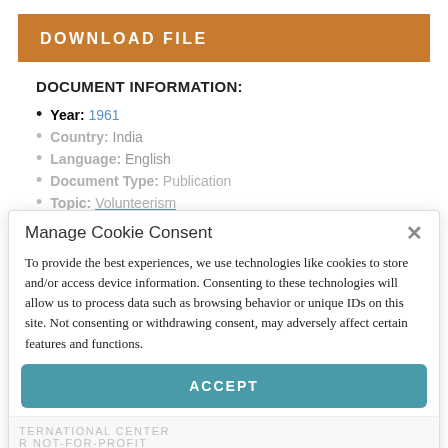DOWNLOAD FILE
DOCUMENT INFORMATION:
Year: 1961
Country: India
Language: English
Document Type: Publication
Topic: Volunteerism
Manage Cookie Consent
To provide the best experiences, we use technologies like cookies to store and/or access device information. Consenting to these technologies will allow us to process data such as browsing behavior or unique IDs on this site. Not consenting or withdrawing consent, may adversely affect certain features and functions.
ACCEPT
DENY
Privacy Policy & Terms of Use